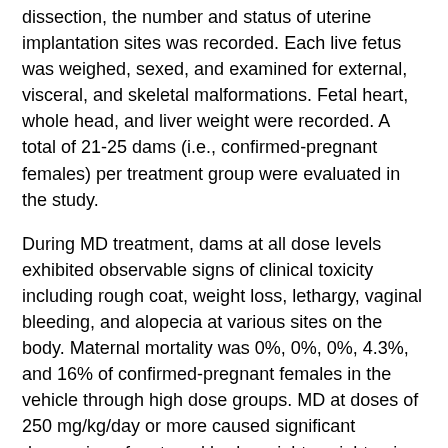dissection, the number and status of uterine implantation sites was recorded. Each live fetus was weighed, sexed, and examined for external, visceral, and skeletal malformations. Fetal heart, whole head, and liver weight were recorded. A total of 21-25 dams (i.e., confirmed-pregnant females) per treatment group were evaluated in the study.
During MD treatment, dams at all dose levels exhibited observable signs of clinical toxicity including rough coat, weight loss, lethargy, vaginal bleeding, and alopecia at various sites on the body. Maternal mortality was 0%, 0%, 0%, 4.3%, and 16% of confirmed-pregnant females in the vehicle through high dose groups. MD at doses of 250 mg/kg/day or more caused significant depression of maternal body weight, weight gain, gravid uterine weight, and absolute maternal liver weight, with 100 mg/kg/day representing a no effect level for these parameters. MD significantly increased embryotoxicity at doses of 500 mg/kg/day and above, as evidenced by a significant increase in the percent resorptions per litter and other indices. Litter lps...